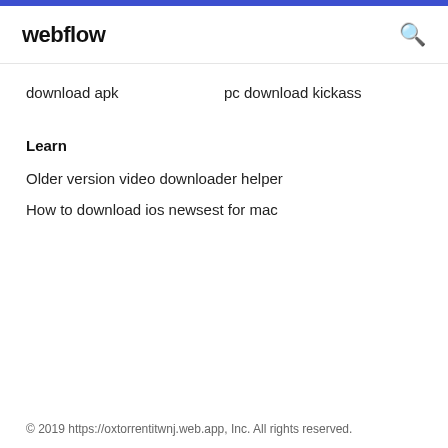webflow
download apk
pc download kickass
Learn
Older version video downloader helper
How to download ios newsest for mac
© 2019 https://oxtorrentitwnj.web.app, Inc. All rights reserved.